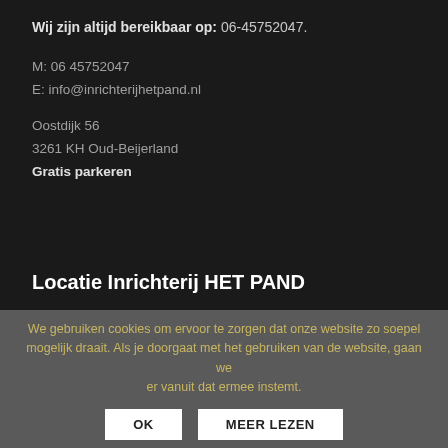Wij zijn altijd bereikbaar op: 06-45752047.
M: 06 45752047
E: info@inrichterijhetpand.nl
Oostdijk 56
3261 KH Oud-Beijerland
Gratis parkeren
Locatie Inrichterij HET PAND
We gebruiken cookies om ervoor te zorgen dat onze website zo soepel mogelijk draait. Als je doorgaat met het gebruiken van de website, gaan we er vanuit dat ermee instemt.
OK   MEER LEZEN